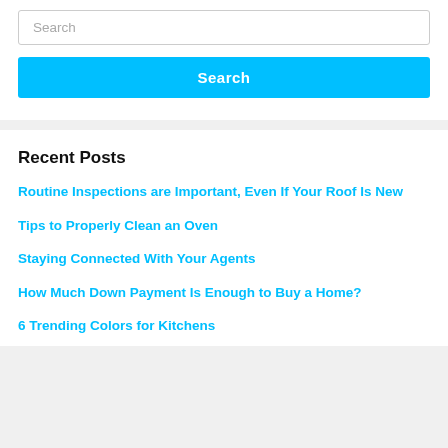Search
Search
Recent Posts
Routine Inspections are Important, Even If Your Roof Is New
Tips to Properly Clean an Oven
Staying Connected With Your Agents
How Much Down Payment Is Enough to Buy a Home?
6 Trending Colors for Kitchens